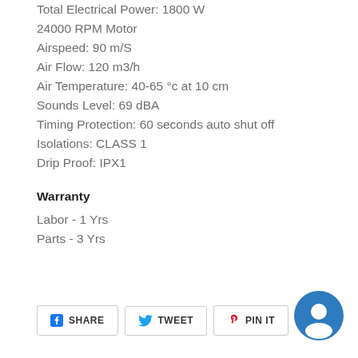Total Electrical Power: 1800 W
24000 RPM Motor
Airspeed: 90 m/S
Air Flow: 120 m3/h
Air Temperature: 40-65 °c at 10 cm
Sounds Level: 69 dBA
Timing Protection: 60 seconds auto shut off
Isolations: CLASS 1
Drip Proof: IPX1
Warranty
Labor - 1 Yrs
Parts - 3 Yrs